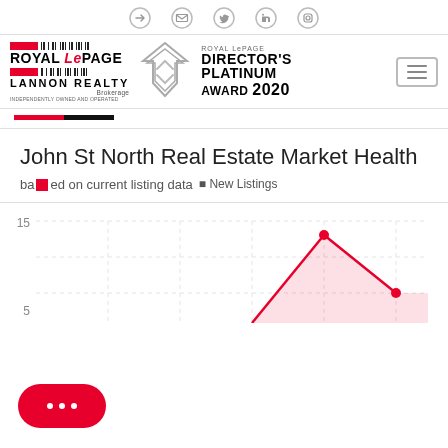[Figure (logo): Social media icon bar with login, email, Twitter, LinkedIn, Instagram icons]
[Figure (logo): Royal LePage Lannon Realty Brokerage logo with Director's Platinum Award 2020 badge and hamburger menu icon]
[Figure (illustration): Red and black decorative stripe divider]
John St North Real Estate Market Health
based on current listing data
New Listings
[Figure (line-chart): Partial line chart showing real estate data with y-axis values 5 and 15 visible, red line with shaded area below]